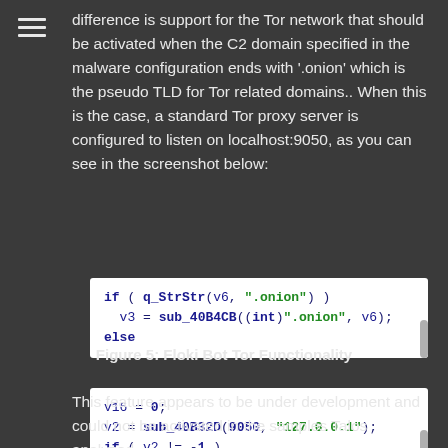≡
difference is support for the Tor network that should be activated when the C2 domain specified in the malware configuration ends with '.onion' which is the pseudo TLD for Tor related domains.. When this is the case, a standard Tor proxy server is configured to listen on localhost:9050, as you can see in the screenshot below:
[Figure (screenshot): Code screenshot showing: if ( q_StrStr(v6, ".onion") ) v3 = sub_40B4CB((int)".onion", v6); else]
[Figure (screenshot): Code screenshot showing: v16 = 0; v2 = sub_40B32D(9050, "127.0.0.1"); if ( v2 != -1 ) {]
Figure 5: Floki Bot Tor Functionality
This feature appears to be under development and could not be activated in the samples Talos analyzed